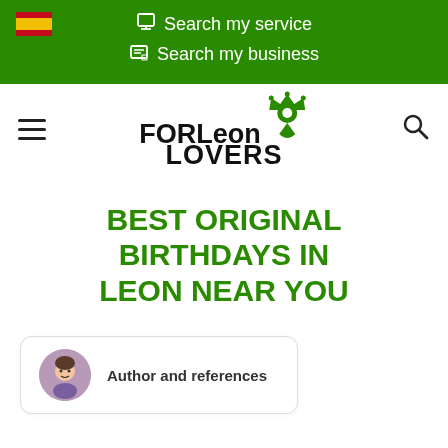[Figure (logo): Spanish flag icon in top-left of green navigation bar]
Search my service
Search my business
[Figure (logo): FORLeon LOVERS logo with map pin and crown icon]
BEST ORIGINAL BIRTHDAYS IN LEON NEAR YOU
Author and references